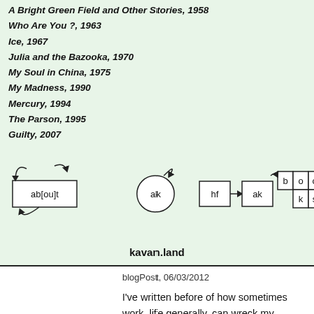A Bright Green Field and Other Stories, 1958
Who Are You ?, 1963
Ice, 1967
Julia and the Bazooka, 1970
My Soul in China, 1975
My Madness, 1990
Mercury, 1994
The Parson, 1995
Guilty, 2007
[Figure (schematic): A diagram showing regex or automaton states: box labeled 'ab[ou]t' with arrows looping around it, a circle with 'ak' and self-loop, boxes 'hf' and 'ak' connected by arrow, grid of boxes 'b o o / k s', and a partial box cut off at right. Below reads 'kavan.land'.]
blogPost, 06/03/2012
I've written before of how sometimes work, life generally, can wreck my reading of a book. A busy period, a week passes without a page turned, and suddenly a great book has